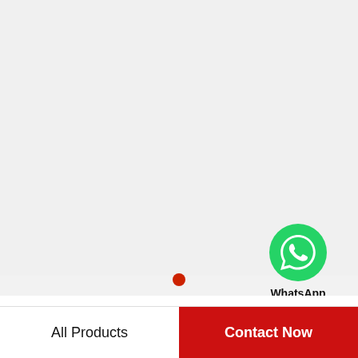[Figure (logo): WhatsApp contact widget with green phone icon circle and text 'WhatsApp Online' below it]
[Figure (other): Small red filled circle dot, likely a carousel indicator]
Factory Directly Chlorinated Polyethylene Popular Virgin Chlorinated Polyethylene CPE…
All Products
Contact Now